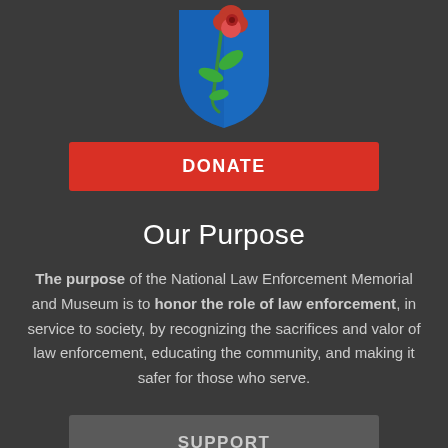[Figure (logo): Shield-shaped logo with a blue shield and a red rose with green stem and leaves — National Law Enforcement Memorial and Museum logo]
DONATE
Our Purpose
The purpose of the National Law Enforcement Memorial and Museum is to honor the role of law enforcement, in service to society, by recognizing the sacrifices and valor of law enforcement, educating the community, and making it safer for those who serve.
SUPPORT
© Copyright 2022 | The National Law Enforcement Memorial